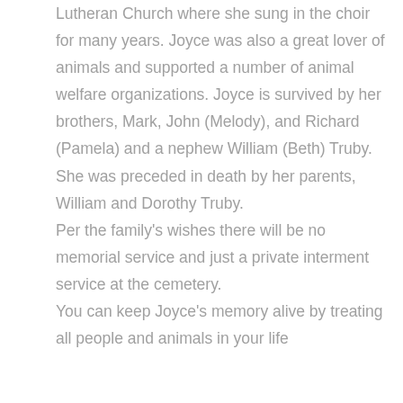Lutheran Church where she sung in the choir for many years. Joyce was also a great lover of animals and supported a number of animal welfare organizations. Joyce is survived by her brothers, Mark, John (Melody), and Richard (Pamela) and a nephew William (Beth) Truby. She was preceded in death by her parents, William and Dorothy Truby.
Per the family's wishes there will be no memorial service and just a private interment service at the cemetery.
You can keep Joyce's memory alive by treating all people and animals in your life